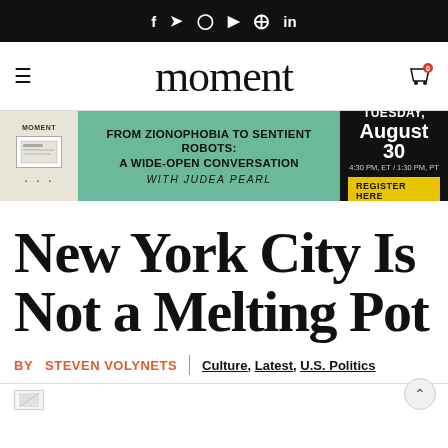f  t  ○  ▶  ⊕  in
moment
[Figure (infographic): Advertisement banner: FROM ZIONOPHOBIA TO SENTIENT ROBOTS: A WIDE-OPEN CONVERSATION WITH JUDEA PEARL — TUESDAY, AUGUST 30, 4:30 PM, ET / 1:30 PM, PT — REGISTER HERE]
New York City Is Not a Melting Pot
BY STEVEN VOLYNETS | Culture, Latest, U.S. Politics